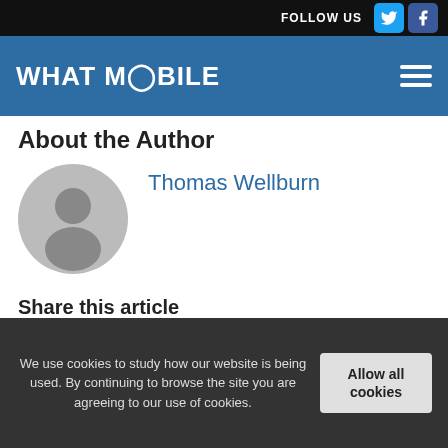FOLLOW US
[Figure (logo): What Mobile logo in white text on blue navigation bar with hamburger menu icon]
About the Author
[Figure (photo): Generic grey avatar/profile placeholder circle icon]
Thomas Wellburn
Share this article
[Figure (infographic): Share buttons row: email (grey), Facebook (dark blue), Twitter (light blue), Pinterest (red), LinkedIn (blue)]
We use cookies to study how our website is being used. By continuing to browse the site you are agreeing to our use of cookies.